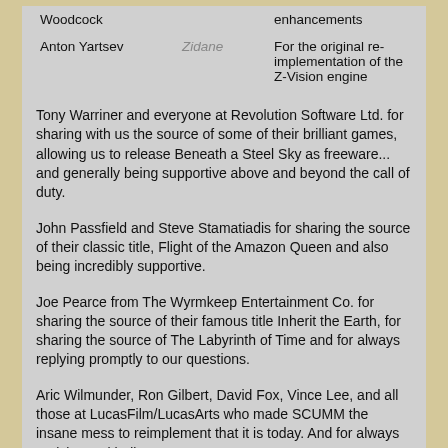| Woodcock |  | enhancements |
| Anton Yartsev | Zidane | For the original re-implementation of the Z-Vision engine |
Tony Warriner and everyone at Revolution Software Ltd. for sharing with us the source of some of their brilliant games, allowing us to release Beneath a Steel Sky as freeware... and generally being supportive above and beyond the call of duty.
John Passfield and Steve Stamatiadis for sharing the source of their classic title, Flight of the Amazon Queen and also being incredibly supportive.
Joe Pearce from The Wyrmkeep Entertainment Co. for sharing the source of their famous title Inherit the Earth, for sharing the source of The Labyrinth of Time and for always replying promptly to our questions.
Aric Wilmunder, Ron Gilbert, David Fox, Vince Lee, and all those at LucasFilm/LucasArts who made SCUMM the insane mess to reimplement that it is today. And for always replying so kindly to our